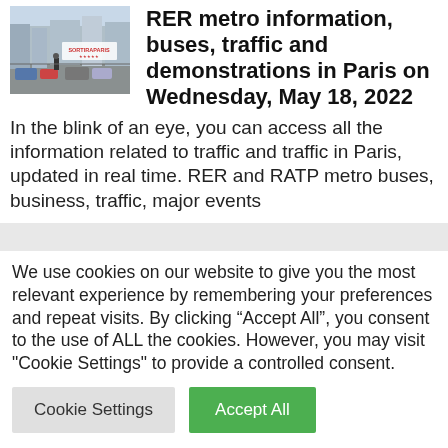[Figure (photo): Street scene in Paris with cars, pedestrians, and a SortirAParis watermark/logo overlay on a billboard or screen]
RER metro information, buses, traffic and demonstrations in Paris on Wednesday, May 18, 2022
In the blink of an eye, you can access all the information related to traffic and traffic in Paris, updated in real time. RER and RATP metro buses, business, traffic, major events
We use cookies on our website to give you the most relevant experience by remembering your preferences and repeat visits. By clicking “Accept All”, you consent to the use of ALL the cookies. However, you may visit "Cookie Settings" to provide a controlled consent.